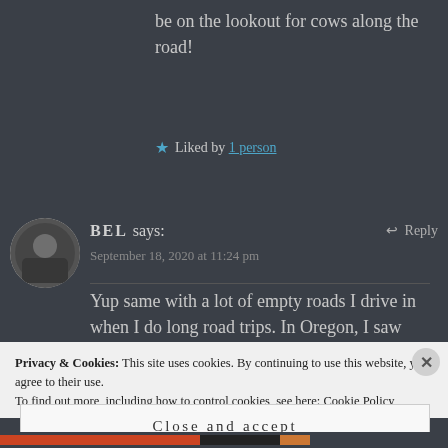be on the lookout for cows along the road!
★ Liked by 1 person
BEL says:
September 18, 2020 at 11:24 pm
Yup same with a lot of empty roads I drive in when I do long road trips. In Oregon, I saw lots of deers and bears
Privacy & Cookies: This site uses cookies. By continuing to use this website, you agree to their use. To find out more, including how to control cookies, see here: Cookie Policy
Close and accept